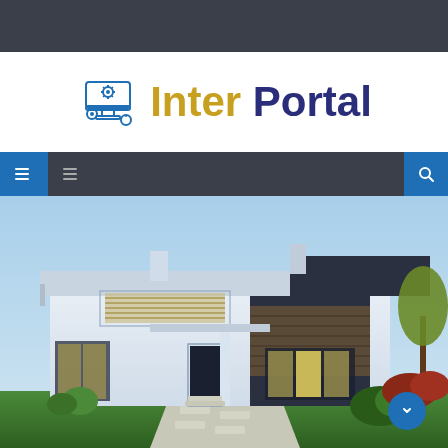[Figure (screenshot): Dark top navigation bar]
[Figure (logo): Inter Portal logo with computer/gear icon. 'Inter' in gold/yellow, 'Portal' in dark blue/navy, with a blue computer icon on the left.]
[Figure (screenshot): Navigation bar with blue hamburger/menu icons on left and a search icon on right, dark background]
[Figure (photo): Modern two-story house with white and dark facade, large windows with warm interior lighting, surrounded by green lawn and landscaping, blue sky background. A blue circular button with a chevron icon appears in the lower right.]